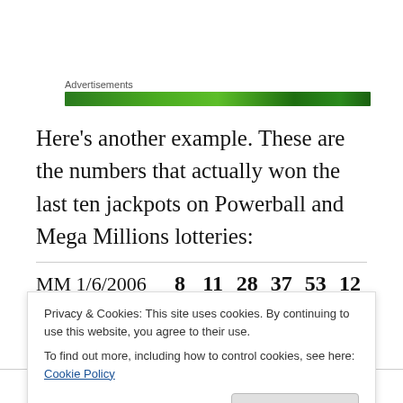[Figure (other): Green advertisement banner bar with 'Advertisements' label above it]
Here's another example.  These are the numbers that actually won the last ten jackpots on Powerball and Mega Millions lotteries:
|  |  |  |  |  |  |  |
| --- | --- | --- | --- | --- | --- | --- |
| MM 1/6/2006 | 8 | 11 | 28 | 37 | 53 | 12 |
| MM 12/20/2005 | 14 | 20 | 35 | 40 | 44 | 27 |
Privacy & Cookies: This site uses cookies. By continuing to use this website, you agree to their use.
To find out more, including how to control cookies, see here: Cookie Policy
|  |  |  |  |  |  |  |
| --- | --- | --- | --- | --- | --- | --- |
| PB 11/2/2005 | 6 | 11 | 14 | 27 | 41 | 28 |